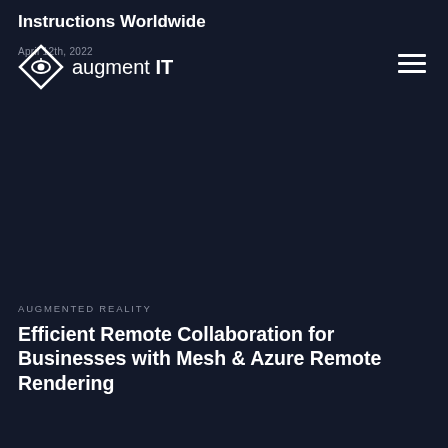Instructions Worldwide
[Figure (logo): augment IT logo with diamond/eye icon and text 'augment IT']
April 12th, 2022
AUGMENTED REALITY
Efficient Remote Collaboration for Businesses with Mesh & Azure Remote Rendering